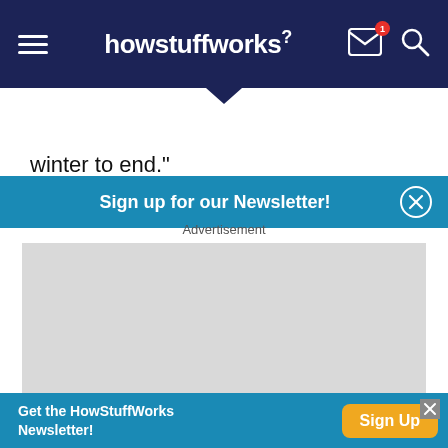howstuffworks
Sign up for our Newsletter!
winter to end."
Advertisement
[Figure (other): Gray advertisement placeholder box]
Get the HowStuffWorks Newsletter! Sign Up